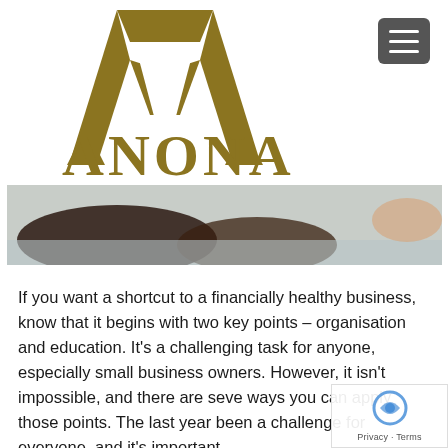[Figure (logo): ANONA logo — golden/olive-colored angular A-shape chevron above the word ANONA in large gold serif letters]
[Figure (photo): Close-up photo of eyeglasses resting on a light surface, dark frames, blurred background]
If you want a shortcut to a financially healthy business, know that it begins with two key points – organisation and education. It's a challenging task for anyone, especially small business owners. However, it isn't impossible, and there are seve ways you can apply those points. The last year been a challenge for everyone, and it's importa...